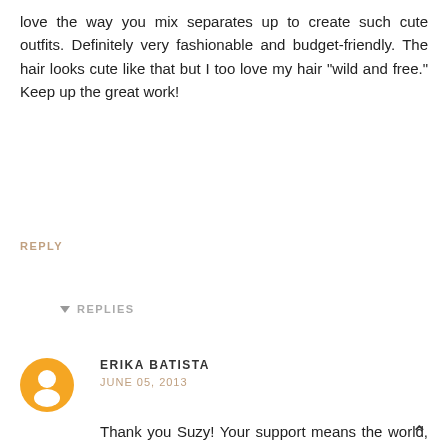love the way you mix separates up to create such cute outfits. Definitely very fashionable and budget-friendly. The hair looks cute like that but I too love my hair "wild and free." Keep up the great work!
REPLY
▾ REPLIES
ERIKA BATISTA
JUNE 05, 2013
Thank you Suzy! Your support means the world, xo